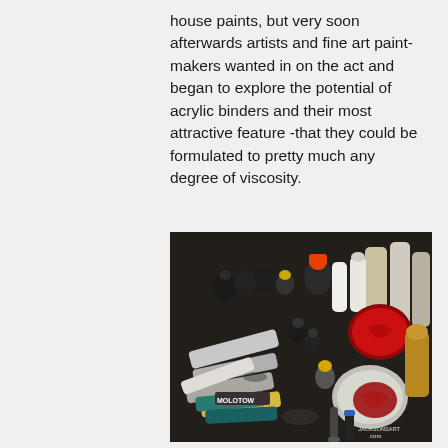house paints, but very soon afterwards artists and fine art paint-makers wanted in on the act and began to explore the potential of acrylic binders and their most attractive feature -that they could be formulated to pretty much any degree of viscosity.
[Figure (photo): Overhead view of numerous acrylic paint tubes, bottles, and open paint cans with red paint scattered on a dark surface, with 'www.jacksonsart.com' watermark in bottom right corner.]